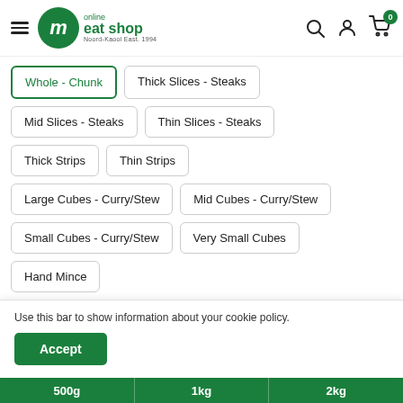[Figure (logo): Online Meat Shop logo with green M circle and text]
Whole - Chunk
Thick Slices - Steaks
Mid Slices - Steaks
Thin Slices - Steaks
Thick Strips
Thin Strips
Large Cubes - Curry/Stew
Mid Cubes - Curry/Stew
Small Cubes - Curry/Stew
Very Small Cubes
Hand Mince
Use this bar to show information about your cookie policy.
500g  1kg  2kg